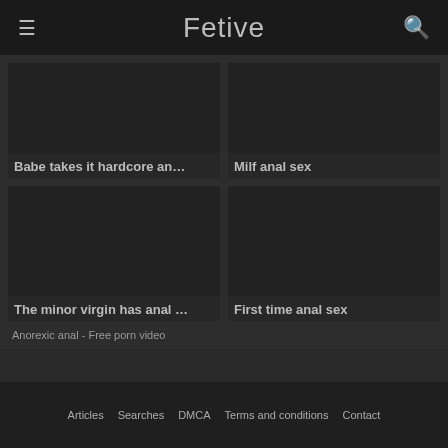Fetive
Babe takes it hardcore an…
Milf anal sex
The minor virgin has anal …
First time anal sex
Anorexic anal - Free porn video
Articles   Searches   DMCA   Terms and conditions   Contact